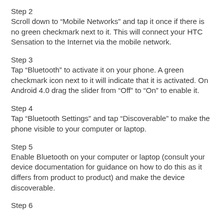Step 2
Scroll down to “Mobile Networks” and tap it once if there is no green checkmark next to it. This will connect your HTC Sensation to the Internet via the mobile network.
Step 3
Tap “Bluetooth” to activate it on your phone. A green checkmark icon next to it will indicate that it is activated. On Android 4.0 drag the slider from “Off” to “On” to enable it.
Step 4
Tap “Bluetooth Settings” and tap “Discoverable” to make the phone visible to your computer or laptop.
Step 5
Enable Bluetooth on your computer or laptop (consult your device documentation for guidance on how to do this as it differs from product to product) and make the device discoverable.
Step 6